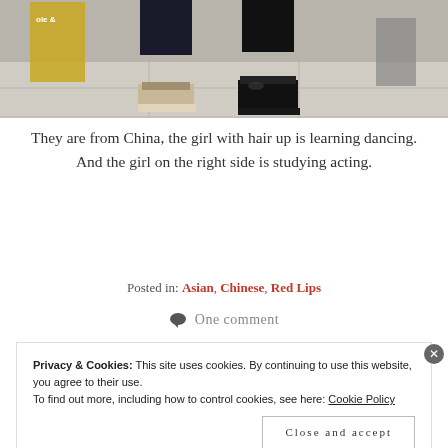[Figure (photo): Bottom half of two people standing on a sidewalk. Left person wears black pants and beige/tan high-top sneakers with straps. Right person wears black pants and black glossy lace-up boots. Shopping bags visible on left and right sides. Store signage partially visible at top.]
They are from China, the girl with hair up is learning dancing. And the girl on the right side is studying acting.
Posted in: Asian, Chinese, Red Lips
One comment
Privacy & Cookies: This site uses cookies. By continuing to use this website, you agree to their use.
To find out more, including how to control cookies, see here: Cookie Policy
Close and accept